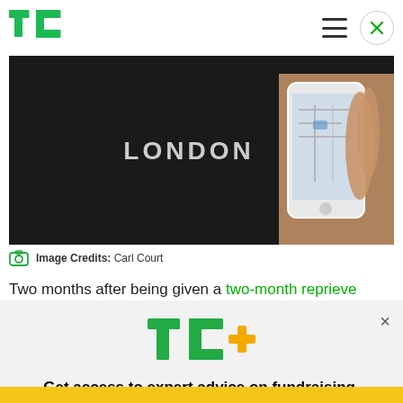TechCrunch
[Figure (photo): Person wearing black shirt with 'LONDON' text, holding a smartphone displaying a map/navigation app]
Image Credits: Carl Court
Two months after being given a two-month reprieve
[Figure (infographic): TC+ subscription promo overlay with TC+ logo, headline 'Get access to expert advice on fundraising, growth, and management for your startup.' and 'EXPLORE NOW' button]